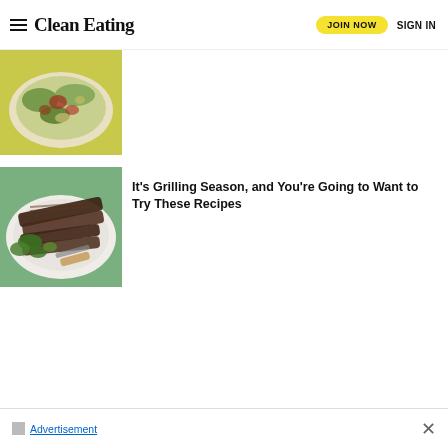Clean Eating | JOIN NOW | SIGN IN
[Figure (photo): Food photo showing a salad dish on a yellow background, top view]
[Figure (photo): Grilled ribs on a white plate with greens, overhead view on green background]
It's Grilling Season, and You're Going to Want to Try These Recipes
Advertisement